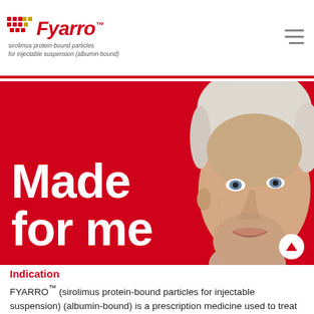Fyarro sirolimus protein-bound particles for injectable suspension (albumin-bound)
[Figure (photo): Red banner with large white text 'Made for me' and an elderly woman with white hair looking upward on the right side]
Indication
FYARRO™ (sirolimus protein-bound particles for injectable suspension) (albumin-bound) is a prescription medicine used to treat locally advanced unresectable or metastatic malignant perivascular epithelioid cell tumors (PEComa).